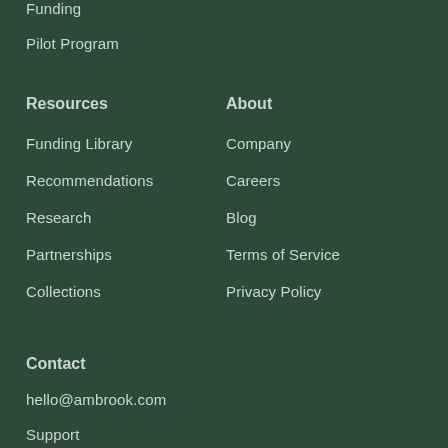Funding
Pilot Program
Resources
Funding Library
Recommendations
Research
Partnerships
Collections
About
Company
Careers
Blog
Terms of Service
Privacy Policy
Contact
hello@ambrook.com
Support